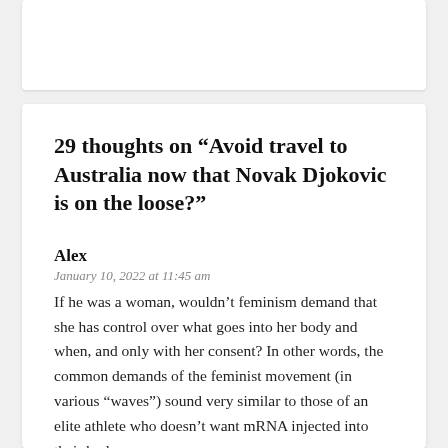29 thoughts on “Avoid travel to Australia now that Novak Djokovic is on the loose?”
Alex
January 10, 2022 at 11:45 am
If he was a woman, wouldn’t feminism demand that she has control over what goes into her body and when, and only with her consent? In other words, the common demands of the feminist movement (in various “waves”) sound very similar to those of an elite athlete who doesn’t want mRNA injected into their body.